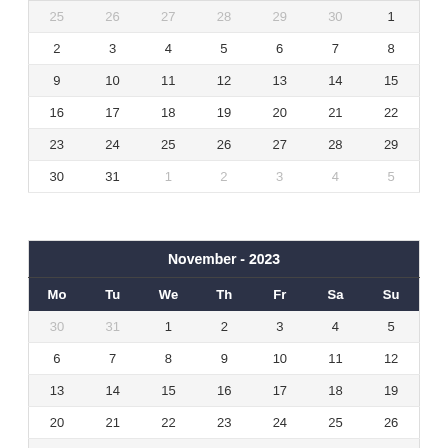| Mo | Tu | We | Th | Fr | Sa | Su |
| --- | --- | --- | --- | --- | --- | --- |
| 25 | 26 | 27 | 28 | 29 | 30 | 1 |
| 2 | 3 | 4 | 5 | 6 | 7 | 8 |
| 9 | 10 | 11 | 12 | 13 | 14 | 15 |
| 16 | 17 | 18 | 19 | 20 | 21 | 22 |
| 23 | 24 | 25 | 26 | 27 | 28 | 29 |
| 30 | 31 | 1 | 2 | 3 | 4 | 5 |
| Mo | Tu | We | Th | Fr | Sa | Su |
| --- | --- | --- | --- | --- | --- | --- |
| November - 2023 |  |  |  |  |  |  |
| Mo | Tu | We | Th | Fr | Sa | Su |
| 30 | 31 | 1 | 2 | 3 | 4 | 5 |
| 6 | 7 | 8 | 9 | 10 | 11 | 12 |
| 13 | 14 | 15 | 16 | 17 | 18 | 19 |
| 20 | 21 | 22 | 23 | 24 | 25 | 26 |
| 27 | 28 | 29 | 30 | 1 | 2 | 3 |